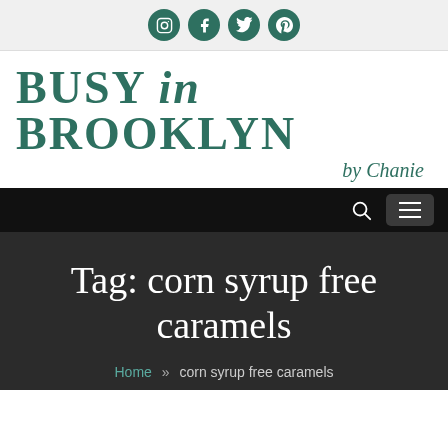Social icons: Instagram, Facebook, Twitter, Pinterest
BUSY in BROOKLYN by Chanie
Navigation bar with search and menu
Tag: corn syrup free caramels
Home » corn syrup free caramels